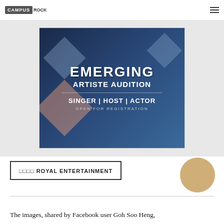CAMPUS ROCK
[Figure (illustration): Event poster for 'Emerging Artiste Audition' with dark blue background and geometric diamond shapes. Text reads: EMERGING ARTISTE AUDITION, SINGER | HOST | ACTOR, OPEN FOR REGISTRATION]
□□□□ ROYAL ENTERTAINMENT
The images, shared by Facebook user Goh Soo Heng,